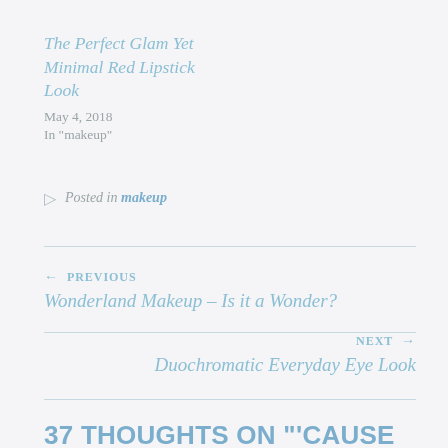The Perfect Glam Yet Minimal Red Lipstick Look
May 4, 2018
In "makeup"
Posted in makeup
← PREVIOUS
Wonderland Makeup – Is it a Wonder?
NEXT →
Duochromatic Everyday Eye Look
37 THOUGHTS ON "'CAUSE